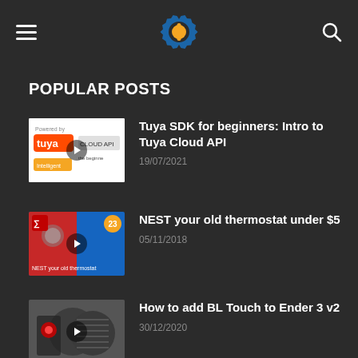Navigation header with hamburger menu, gear logo, and search icon
POPULAR POSTS
Tuya SDK for beginners: Intro to Tuya Cloud API | 19/07/2021
NEST your old thermostat under $5 | 05/11/2018
How to add BL Touch to Ender 3 v2 | 30/12/2020